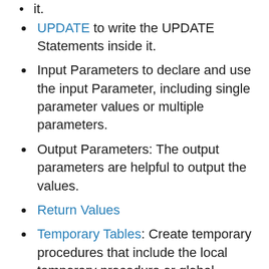UPDATE to write the UPDATE Statements inside it.
Input Parameters to declare and use the input Parameter, including single parameter values or multiple parameters.
Output Parameters: The output parameters are helpful to output the values.
Return Values
Temporary Tables: Create temporary procedures that include the local temporary procedure or global temporary procedure.
Before we get into the practical example, let us see the syntax.